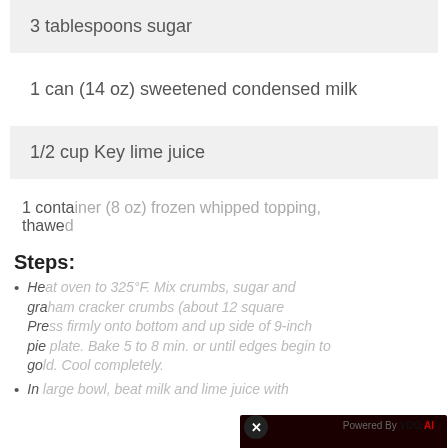3 tablespoons sugar
1 can (14 oz) sweetened condensed milk
1/2 cup Key lime juice
1 container (8 oz) frozen whipped topping, thawed
Steps:
Heat oven to 325°F. Mix crumbs, sugar and margarine; press firmly onto bottom and up side of 9-inch pie plate. Bake 5 to 8 min. or until edges begin to brown. Cool completely.
In large bowl, beat milk and lime juice with
[Figure (screenshot): Video overlay showing 'No compatible source was found for this media.' text over a dark red background with IMMUNE SYSTEM HOW IT ACTUALLY WORKS title. Powered by VDO.AI branding visible. Close button (X) in top left.]